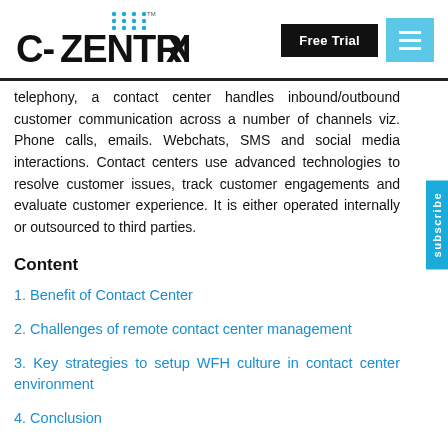[Figure (logo): C-Zentrix logo with dot grid pattern above the X, displayed in top-left of header]
Free Trial
telephony, a contact center handles inbound/outbound customer communication across a number of channels viz. Phone calls, emails. Webchats, SMS and social media interactions. Contact centers use advanced technologies to resolve customer issues, track customer engagements and evaluate customer experience. It is either operated internally or outsourced to third parties.
Content
1. Benefit of Contact Center
2. Challenges of remote contact center management
3. Key strategies to setup WFH culture in contact center environment
4. Conclusion